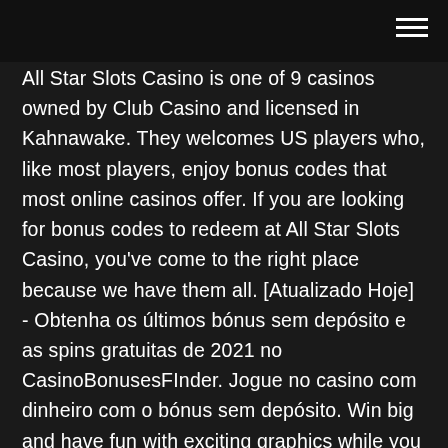[hamburger menu icon]
All Star Slots Casino is one of 9 casinos owned by Club Casino and licensed in Kahnawake. They welcomes US players who, like most players, enjoy bonus codes that most online casinos offer. If you are looking for bonus codes to redeem at All Star Slots Casino, you've come to the right place because we have them all. [Atualizado Hoje] - Obtenha os últimos bónus sem depósito e as spins gratuitas de 2021 no CasinoBonusesFInder. Jogue no casino com dinheiro com o bónus sem depósito. Win big and have fun with exciting graphics while you play the vast selection of online slot games available at All Star Slots Casino. All Star Slots gives you the opportunity to play the most popular slot games out there. You can't go wrong with the video slots, 3 reel slots, and progressive slots available